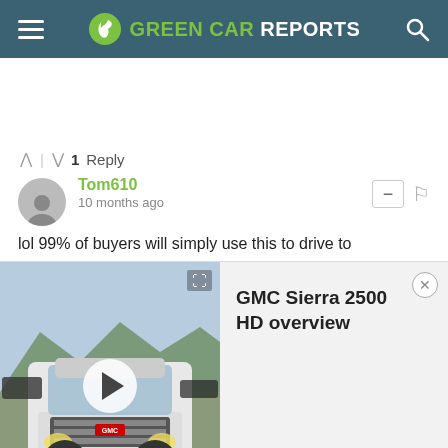GREEN CAR REPORTS
^ | v 1 Reply
Tom610
10 months ago
lol 99% of buyers will simply use this to drive to
[Figure (screenshot): Video overlay showing a GMC Sierra 2500 HD truck driving on a road with mountains in background, with play button and title 'GMC Sierra 2500 HD overview']
Cortland Pentagon City
Luxury Arlington Apartments
LEARN MORE